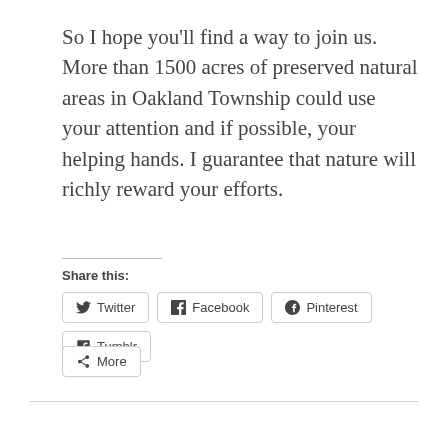So I hope you'll find a way to join us. More than 1500 acres of preserved natural areas in Oakland Township could use your attention and if possible, your helping hands. I guarantee that nature will richly reward your efforts.
Share this: